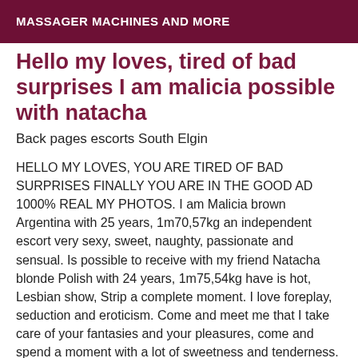MASSAGER MACHINES AND MORE
Hello my loves, tired of bad surprises I am malicia possible with natacha
Back pages escorts South Elgin
HELLO MY LOVES, YOU ARE TIRED OF BAD SURPRISES FINALLY YOU ARE IN THE GOOD AD 1000% REAL MY PHOTOS. I am Malicia brown Argentina with 25 years, 1m70,57kg an independent escort very sexy, sweet, naughty, passionate and sensual. Is possible to receive with my friend Natacha blonde Polish with 24 years, 1m75,54kg have is hot, Lesbian show, Strip a complete moment. I love foreplay, seduction and eroticism. Come and meet me that I take care of your fantasies and your pleasures, come and spend a moment with a lot of sweetness and tenderness. I want to meet polite and courteous gentlemen to share sensual and erotic moments in mutual respect. I like to give and receive attention, the